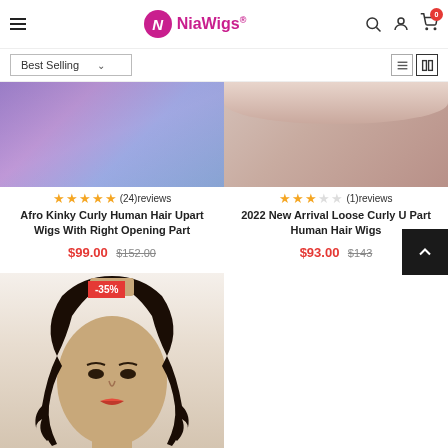NiaWigs® — Best Selling, Navigation
[Figure (screenshot): Product card top portion — Afro Kinky Curly Human Hair colorful wig product image (cropped top)]
[Figure (screenshot): Product card top portion — 2022 New Arrival Loose Curly U Part Human Hair Wigs product image (cropped top)]
(24)reviews — Afro Kinky Curly Human Hair Upart Wigs With Right Opening Part — $99.00 $152.00
(1)reviews — 2022 New Arrival Loose Curly U Part Human Hair Wigs — $93.00 $143...
[Figure (photo): Mannequin head wearing a wavy dark brown U-part wig, showing the U-part opening at the top, with discount badge -35%]